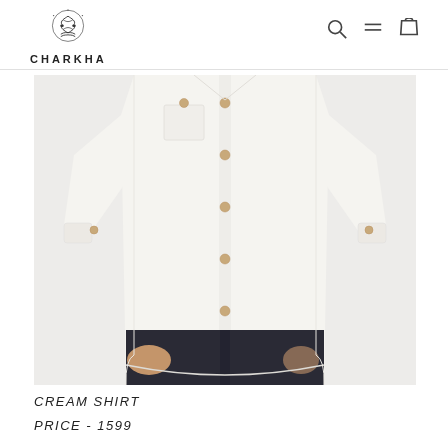CHARKHA
[Figure (photo): A man wearing a cream/white long-sleeve button-up shirt with tan/wooden buttons, paired with dark trousers. The photo shows from neck to thighs, with the model's hands visible at the front.]
CREAM SHIRT
PRICE - 1599